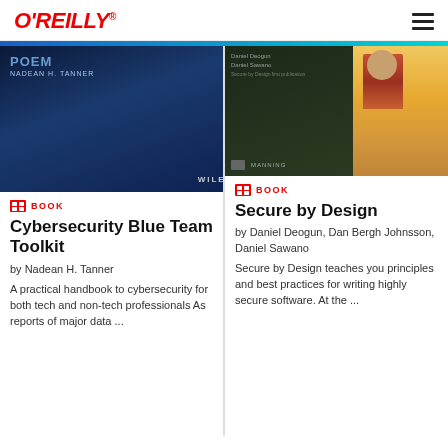O'REILLY
[Figure (screenshot): O'Reilly website showing two book listings: Cybersecurity Blue Team Toolkit and Secure by Design]
BOOK
Cybersecurity Blue Team Toolkit
by Nadean H. Tanner
A practical handbook to cybersecurity for both tech and non-tech professionals As reports of major data ...
BOOK
Secure by Design
by Daniel Deogun, Dan Bergh Johnsson, Daniel Sawano
Secure by Design teaches you principles and best practices for writing highly secure software. At the ...